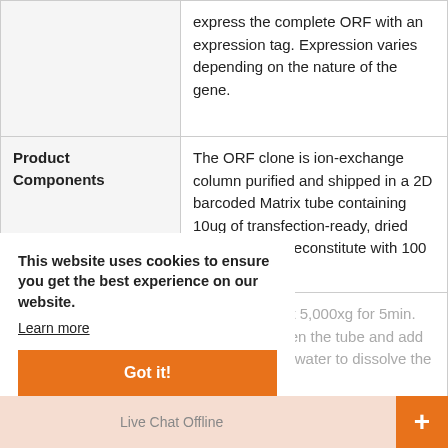|  |  |
| --- | --- |
|  | express the complete ORF with an expression tag. Expression varies depending on the nature of the gene. |
| Product Components | The ORF clone is ion-exchange column purified and shipped in a 2D barcoded Matrix tube containing 10ug of transfection-ready, dried plasmid DNA (reconstitute with 100 ul of water). |
| Reconstitution | 1. Centrifuge at 5,000xg for 5min.
2. Carefully open the tube and add 100ul of sterile water to dissolve the DNA.
3. Close the tube and incubate for 5 minutes at room temperature.
4. Briefly vortex the tube and then |
This website uses cookies to ensure you get the best experience on our website.
Learn more
Got it!
Live Chat Offline